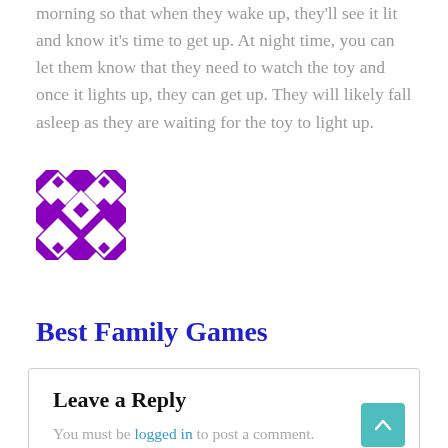morning so that when they wake up, they'll see it lit and know it's time to get up. At night time, you can let them know that they need to watch the toy and once it lights up, they can get up. They will likely fall asleep as they are waiting for the toy to light up.
[Figure (logo): Purple and white geometric pattern logo — diamond and cross shapes in a square tile arrangement]
Best Family Games
Leave a Reply
You must be logged in to post a comment.